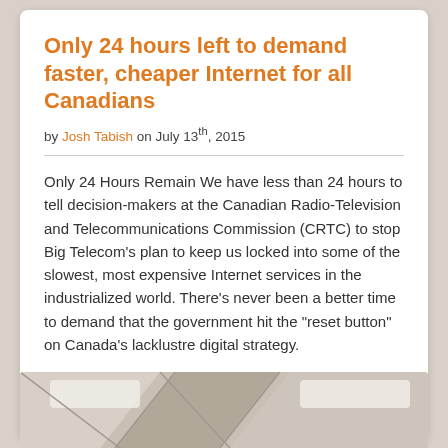Only 24 hours left to demand faster, cheaper Internet for all Canadians
by Josh Tabish on July 13th, 2015
Only 24 Hours Remain We have less than 24 hours to tell decision-makers at the Canadian Radio-Television and Telecommunications Commission (CRTC) to stop Big Telecom’s plan to keep us locked into some of the slowest, most expensive Internet services in the industrialized world. There’s never been a better time to demand that the government hit the “reset button” on Canada’s lacklustre digital strategy.
READ ARTICLE ›
[Figure (photo): Partial view of a room with ceiling lights and geometric ceiling panels in beige/tan tones]